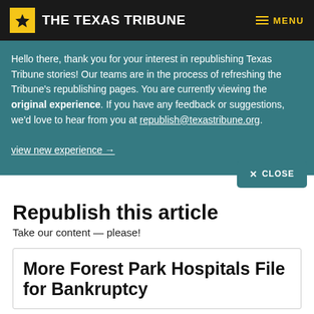THE TEXAS TRIBUNE — MENU
Hello there, thank you for your interest in republishing Texas Tribune stories! Our teams are in the process of refreshing the Tribune's republishing pages. You are currently viewing the original experience. If you have any feedback or suggestions, we'd love to hear from you at republish@texastribune.org. view new experience →
Republish this article
Take our content — please!
More Forest Park Hospitals File for Bankruptcy